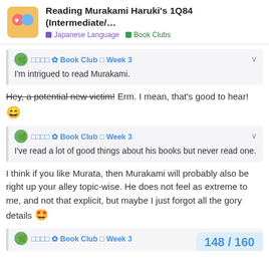Reading Murakami Haruki's 1Q84 (Intermediate/... | Japanese Language | Book Clubs
□□□□ ✿ Book Club □ Week 3
I'm intrigued to read Murakami.
Hey, a potential new victim! Erm. I mean, that's good to hear! 😄
□□□□ ✿ Book Club □ Week 3
I've read a lot of good things about his books but never read one.
I think if you like Murata, then Murakami will probably also be right up your alley topic-wise. He does not feel as extreme to me, and not that explicit, but maybe I just forgot all the gory details 🤩
□□□□ ✿ Book Club □ Week 3
148 / 160